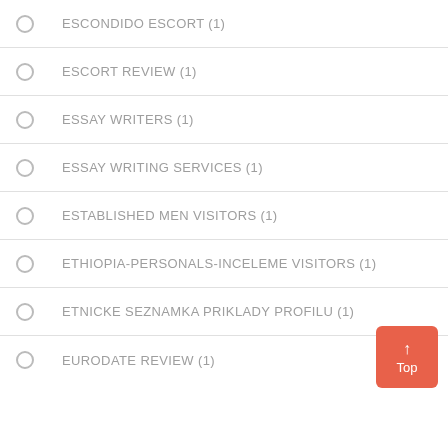ESCONDIDO ESCORT (1)
ESCORT REVIEW (1)
ESSAY WRITERS (1)
ESSAY WRITING SERVICES (1)
ESTABLISHED MEN VISITORS (1)
ETHIOPIA-PERSONALS-INCELEME VISITORS (1)
ETNICKE SEZNAMKA PRIKLADY PROFILU (1)
EURODATE REVIEW (1)